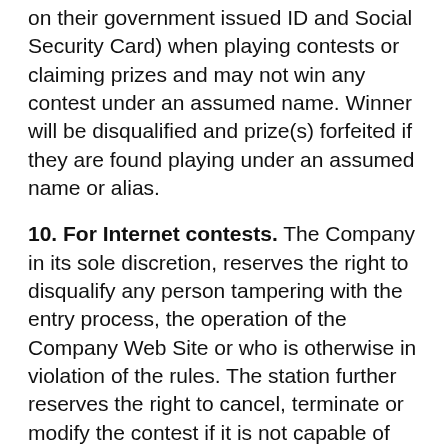on their government issued ID and Social Security Card) when playing contests or claiming prizes and may not win any contest under an assumed name. Winner will be disqualified and prize(s) forfeited if they are found playing under an assumed name or alias.
10. For Internet contests. The Company in its sole discretion, reserves the right to disqualify any person tampering with the entry process, the operation of the Company Web Site or who is otherwise in violation of the rules. The station further reserves the right to cancel, terminate or modify the contest if it is not capable of completion as planned, including infection by computer virus, bugs, tampering, unauthorized intervention or technical failures of any sort.
11. Miscellaneous. Void where prohibited. No purchase necessary; purchase does not increase odds of winning. Odds of winning depend upon the number of participants. Each winner must submit proof of